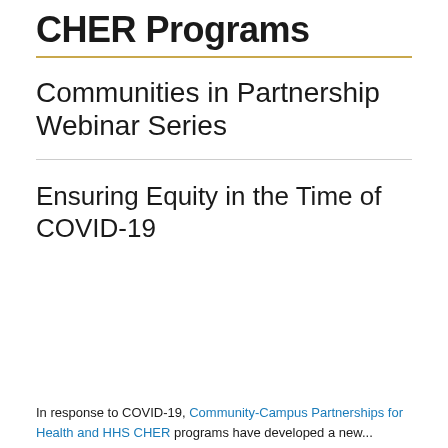CHER Programs
Communities in Partnership Webinar Series
Ensuring Equity in the Time of COVID-19
In response to COVID-19, Community-Campus Partnerships for Health and HHS CHER programs have developed a new...